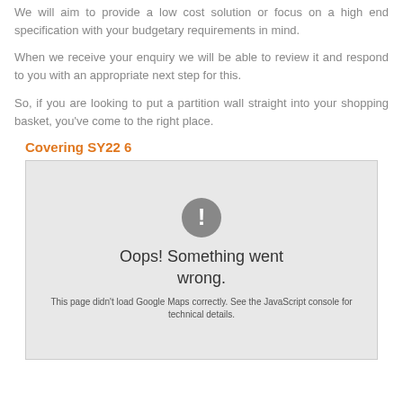We will aim to provide a low cost solution or focus on a high end specification with your budgetary requirements in mind.
When we receive your enquiry we will be able to review it and respond to you with an appropriate next step for this.
So, if you are looking to put a partition wall straight into your shopping basket, you've come to the right place.
Covering SY22 6
[Figure (screenshot): Google Maps error screenshot showing 'Oops! Something went wrong.' with exclamation mark icon and message 'This page didn't load Google Maps correctly. See the JavaScript console for technical details.']